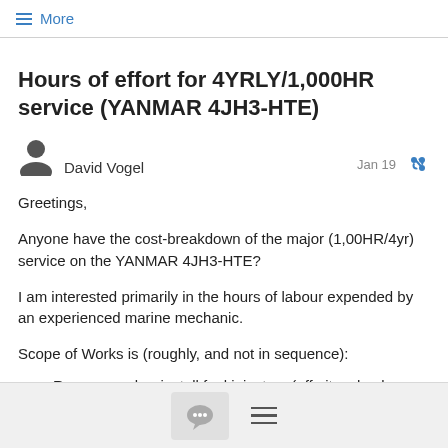≡ More
Hours of effort for 4YRLY/1,000HR service (YANMAR 4JH3-HTE)
David Vogel   Jan 19
Greetings,
Anyone have the cost-breakdown of the major (1,00HR/4yr) service on the YANMAR 4JH3-HTE?
I am interested primarily in the hours of labour expended by an experienced marine mechanic.
Scope of Works is (roughly, and not in sequence):
+ Remove and re-install fuel injectors (off-site: check pressure